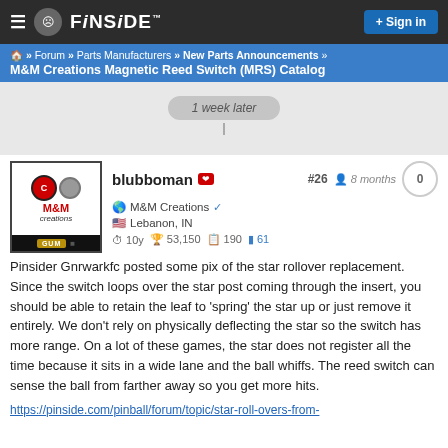FINSIDE — Sign in
Forum » Parts Manufacturers » New Parts Announcements » M&M Creations Magnetic Reed Switch (MRS) Catalog
1 week later
blubboman #26 8 months 0
M&M Creations Lebanon, IN
10y 53,150 190 61
Pinsider Gnrwarkfc posted some pix of the star rollover replacement. Since the switch loops over the star post coming through the insert, you should be able to retain the leaf to 'spring' the star up or just remove it entirely. We don't rely on physically deflecting the star so the switch has more range. On a lot of these games, the star does not register all the time because it sits in a wide lane and the ball whiffs. The reed switch can sense the ball from farther away so you get more hits.
https://pinside.com/pinball/forum/topic/star-roll-overs-from-